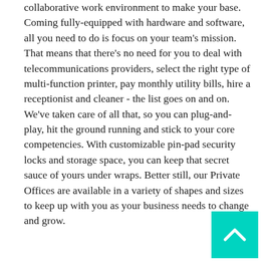collaborative work environment to make your base. Coming fully-equipped with hardware and software, all you need to do is focus on your team's mission. That means that there's no need for you to deal with telecommunications providers, select the right type of multi-function printer, pay monthly utility bills, hire a receptionist and cleaner - the list goes on and on. We've taken care of all that, so you can plug-and-play, hit the ground running and stick to your core competencies. With customizable pin-pad security locks and storage space, you can keep that secret sauce of yours under wraps. Better still, our Private Offices are available in a variety of shapes and sizes to keep up with you as your business needs to change and grow.
[Figure (other): Teal/cyan square button with a white upward-pointing chevron arrow, positioned in the bottom-right corner of the page.]